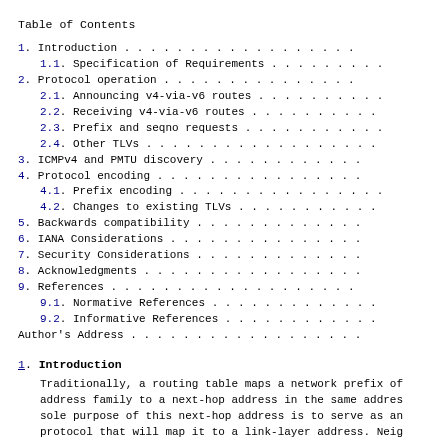Table of Contents
1. Introduction . . . . . . . . . . . . . . . . . .
1.1. Specification of Requirements . . . . . . . . .
2. Protocol operation . . . . . . . . . . . . . . .
2.1. Announcing v4-via-v6 routes . . . . . . . . . .
2.2. Receiving v4-via-v6 routes . . . . . . . . . .
2.3. Prefix and seqno requests . . . . . . . . . . .
2.4. Other TLVs . . . . . . . . . . . . . . . . . .
3. ICMPv4 and PMTU discovery . . . . . . . . . . . .
4. Protocol encoding . . . . . . . . . . . . . . . .
4.1. Prefix encoding . . . . . . . . . . . . . . . .
4.2. Changes to existing TLVs . . . . . . . . . . .
5. Backwards compatibility . . . . . . . . . . . . .
6. IANA Considerations . . . . . . . . . . . . . . .
7. Security Considerations . . . . . . . . . . . . .
8. Acknowledgments . . . . . . . . . . . . . . . . .
9. References . . . . . . . . . . . . . . . . . . .
9.1. Normative References . . . . . . . . . . . . .
9.2. Informative References . . . . . . . . . . . .
Author's Address . . . . . . . . . . . . . . . . . .
1. Introduction
Traditionally, a routing table maps a network prefix of address family to a next-hop address in the same address sole purpose of this next-hop address is to serve as an protocol that will map it to a link-layer address. Neig